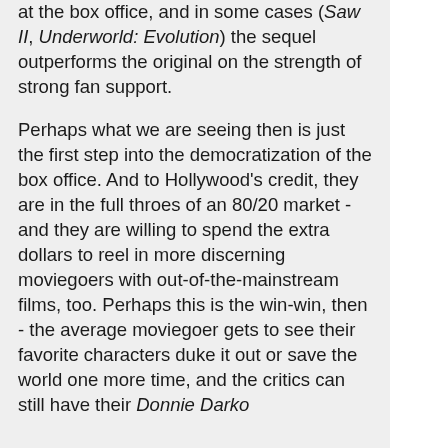at the box office, and in some cases (Saw II, Underworld: Evolution) the sequel outperforms the original on the strength of strong fan support.
Perhaps what we are seeing then is just the first step into the democratization of the box office. And to Hollywood's credit, they are in the full throes of an 80/20 market - and they are willing to spend the extra dollars to reel in more discerning moviegoers with out-of-the-mainstream films, too. Perhaps this is the win-win, then - the average moviegoer gets to see their favorite characters duke it out or save the world one more time, and the critics can still have their Donnie Darko